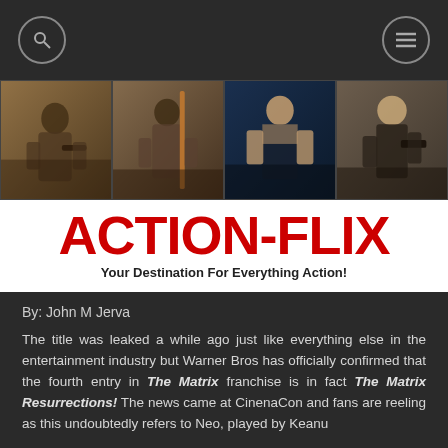ACTION-FLIX — Navigation bar with search and menu icons
[Figure (photo): Banner with four action movie stills showing actors with weapons]
ACTION-FLIX
Your Destination For Everything Action!
By: John M Jerva
The title was leaked a while ago just like everything else in the entertainment industry but Warner Bros has officially confirmed that the fourth entry in The Matrix franchise is in fact The Matrix Resurrections! The news came at CinenaCon and fans are reeling as this undoubtedly refers to Neo, played by Keanu